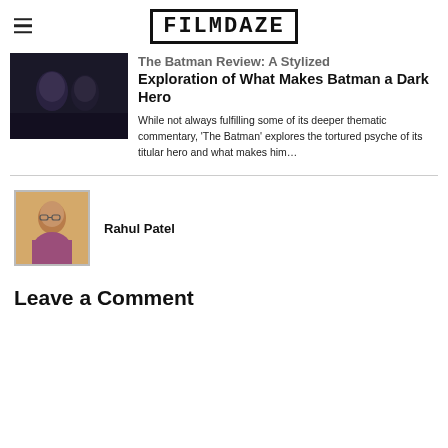FILMDAZE
[Figure (photo): Dark cinematic still showing two figures close together, appearing to be from The Batman movie]
The Batman Review: A Stylized Exploration of What Makes Batman a Dark Hero
While not always fulfilling some of its deeper thematic commentary, 'The Batman' explores the tortured psyche of its titular hero and what makes him…
[Figure (photo): Author photo of Rahul Patel, a man wearing glasses and a plaid shirt]
Rahul Patel
Leave a Comment